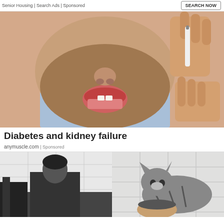Senior Housing | Search Ads | Sponsored
[Figure (photo): Close-up of a bearded man with mouth open, holding what appears to be a medical device near his ear/face, suggesting medical/health advertisement for diabetes and kidney failure]
Diabetes and kidney failure
anymuscle.com | Sponsored
[Figure (photo): Left half of bottom row: woman in gym/fitness setting with dark background]
[Figure (photo): Right half of bottom row: tabby cat sitting on someone's head near white tile wall]